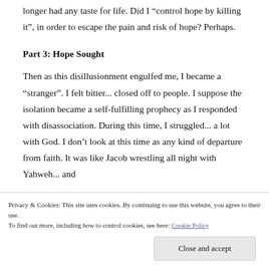longer had any taste for life. Did I “control hope by killing it”, in order to escape the pain and risk of hope? Perhaps.
Part 3: Hope Sought
Then as this disillusionment engulfed me, I became a “stranger”. I felt bitter... closed off to people. I suppose the isolation became a self-fulfilling prophecy as I responded with disassociation. During this time, I struggled... a lot with God. I don’t look at this time as any kind of departure from faith. It was like Jacob wrestling all night with Yahweh... and
Privacy & Cookies: This site uses cookies. By continuing to use this website, you agree to their use.
To find out more, including how to control cookies, see here: Cookie Policy